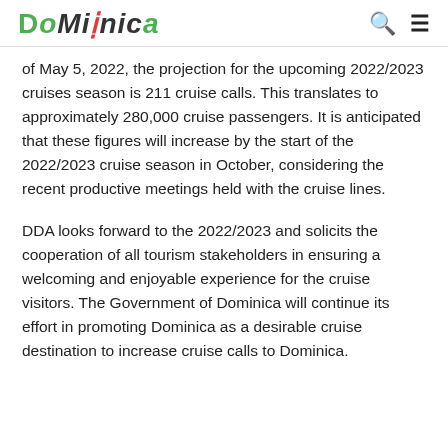Dominica
of May 5, 2022, the projection for the upcoming 2022/2023 cruises season is 211 cruise calls. This translates to approximately 280,000 cruise passengers. It is anticipated that these figures will increase by the start of the 2022/2023 cruise season in October, considering the recent productive meetings held with the cruise lines.
DDA looks forward to the 2022/2023 and solicits the cooperation of all tourism stakeholders in ensuring a welcoming and enjoyable experience for the cruise visitors. The Government of Dominica will continue its effort in promoting Dominica as a desirable cruise destination to increase cruise calls to Dominica.